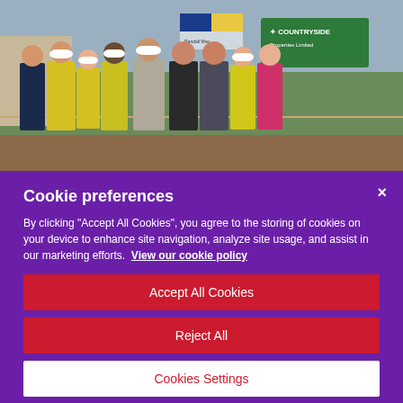[Figure (photo): Group photo of approximately 10 people standing outdoors at a construction site. Several people wear high-visibility yellow vests and white hard hats. A 'Countryside' branded green sign is visible in the background along with trees and fencing.]
Cookie preferences
By clicking "Accept All Cookies", you agree to the storing of cookies on your device to enhance site navigation, analyze site usage, and assist in our marketing efforts.  View our cookie policy
Accept All Cookies
Reject All
Cookies Settings